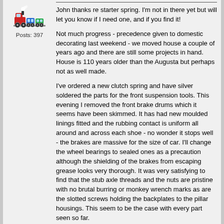[Figure (illustration): Small avatar image showing a colorful toy train illustration]
Posts: 397
John thanks re starter spring. I'm not in there yet but will let you know if I need one, and if you find it!

Not much progress - precedence given to domestic decorating last weekend - we moved house a couple of years ago and there are still some projects in hand. House is 110 years older than the Augusta but perhaps not as well made.

I've ordered a new clutch spring and have silver soldered the parts for the front suspension tools. This evening I removed the front brake drums which it seems have been skimmed. It has had new moulded linings fitted and the rubbing contact is uniform all around and across each shoe - no wonder it stops well - the brakes are massive for the size of car. I'll change the wheel bearings to sealed ones as a precaution although the shielding of the brakes from escaping grease looks very thorough. It was very satisfying to find that the stub axle threads and the nuts are pristine with no brutal burring or monkey wrench marks as are the slotted screws holding the backplates to the pillar housings. This seem to be the case with every part seen so far.

Mike